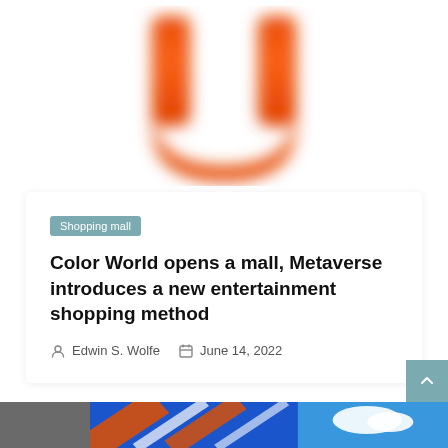[Figure (logo): Orange blurred letter U / horseshoe shape logo on white background]
Shopping mall
Color World opens a mall, Metaverse introduces a new entertainment shopping method
Edwin S. Wolfe   June 14, 2022
[Figure (photo): Bottom strip showing partial photo of building on left and colorful abstract pattern with blue background on right]